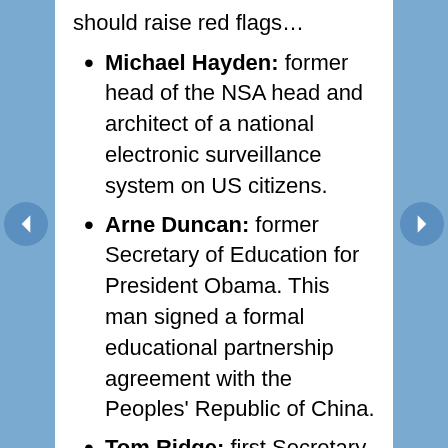should raise red flags…
Michael Hayden: former head of the NSA head and architect of a national electronic surveillance system on US citizens.
Arne Duncan: former Secretary of Education for President Obama. This man signed a formal educational partnership agreement with the Peoples' Republic of China.
Tom Ridge: first Secretary of